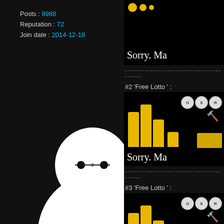Posts : 9988
Reputation : 72
Join date : 2014-12-18
[Figure (illustration): White Baymax-like robot figure with 'Advice' text written on its torso, appears to be bowing or praying with hands together]
[Figure (screenshot): Partial game screenshot showing yellow objects and 'Sorry. Ma' text on black background (top, cropped)]
-------------------------------------------
#2 'Free Lotto ' :
[Figure (screenshot): Game screenshot showing yellow cylindrical bars, OSR badges, wrench icon, and 'Sorry. Ma' text on black background]
-------------------------------------------
#3 'Free Lotto ' :
[Figure (screenshot): Game screenshot showing yellow cylindrical bars, OSR badges, wrench icon, and 'Sorry. Ma' text on black background]